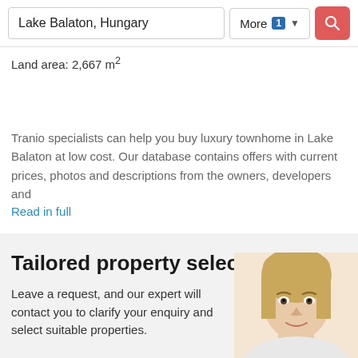Lake Balaton, Hungary | More 1 | Search
Land area: 2,667 m²
Tranio specialists can help you buy luxury townhome in Lake Balaton at low cost. Our database contains offers with current prices, photos and descriptions from the owners, developers and Read in full
Tailored property selection
Leave a request, and our expert will contact you to clarify your enquiry and select suitable properties.
[Figure (photo): Headshot of a blonde woman, cropped to show face and upper shoulders in the bottom-right corner]